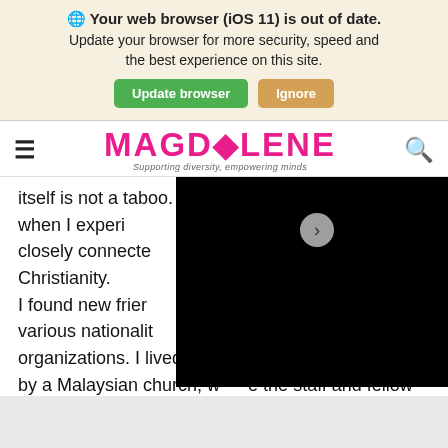Your web browser (iOS 11) is out of date. Update your browser for more security, speed and the best experience on this site. [Update browser] [Ignore]
[Figure (logo): MAGDOLENE logo with tagline 'Supporting diversity, empowering minds']
itself is not a taboo. Actually it was also the time when I experienced something that was closely connected to my religion, Christianity. I found new friends who came from various nationalities and joined Christian organizations. I lived in a student apartment owned by a Malaysian church, where the staff and fellow
[Figure (screenshot): Black overlay panel (video or popup) covering right portion of article content with a right-arrow navigation button]